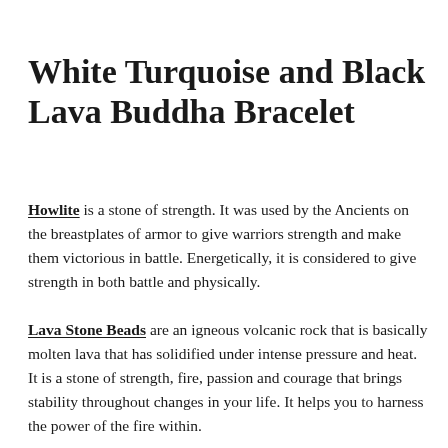White Turquoise and Black Lava Buddha Bracelet
Howlite is a stone of strength. It was used by the Ancients on the breastplates of armor to give warriors strength and make them victorious in battle. Energetically, it is considered to give strength in both battle and physically.
Lava Stone Beads are an igneous volcanic rock that is basically molten lava that has solidified under intense pressure and heat. It is a stone of strength, fire, passion and courage that brings stability throughout changes in your life. It helps you to harness the power of the fire within.